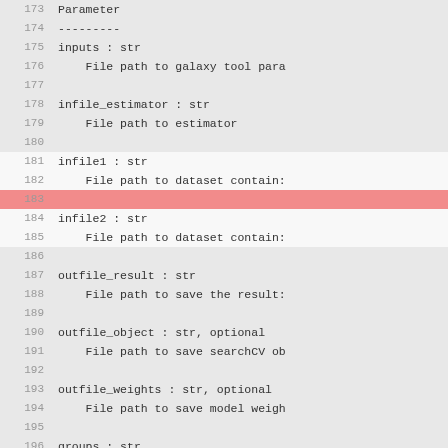Code listing lines 173-200 showing parameter documentation
173   Parameter
174   ---------
175   inputs : str
176       File path to galaxy tool para
177   (empty)
178   infile_estimator : str
179       File path to estimator
180   (empty)
181   infile1 : str
182       File path to dataset contain:
183   (highlighted empty line)
184   infile2 : str
185       File path to dataset contain:
186   (empty)
187   outfile_result : str
188       File path to save the result:
189   (empty)
190   outfile_object : str, optional
191       File path to save searchCV ob
192   (empty)
193   outfile_weights : str, optional
194       File path to save model weigh
195   (empty)
196   groups : str
197       File path to dataset contain:
198   (empty)
199   ref_seq : str
200       File path to dataset contain: